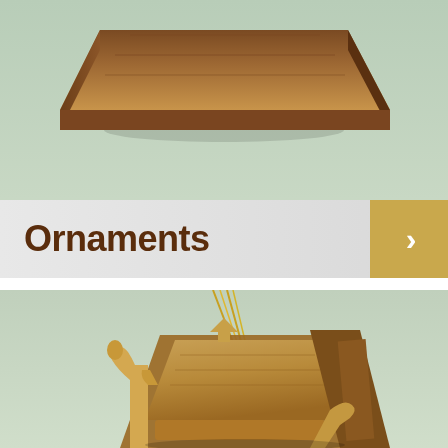[Figure (photo): Close-up photo of a wooden ornament piece (roof/triangular shape) floating against a soft mint green background — top portion of a nativity scene ornament.]
Ornaments
[Figure (photo): Photo of a wooden olive wood nativity scene ornament hanging by a gold cord against a soft mint green background. The ornament shows a miniature manger scene with figures and a star, crafted from natural olive wood.]